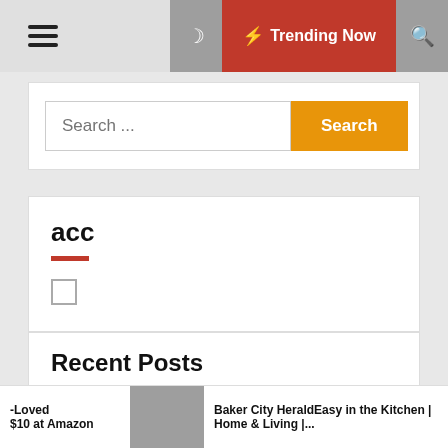☰  ☽  ⚡ Trending Now  🔍
Search ...  [Search button]
acc
Recent Posts
Shop This Pastry Cook-Loved Silicone Brush Set for $10
-Loved  $10 at Amazon   Baker City HeraldEasy in the Kitchen | Home & Living |...